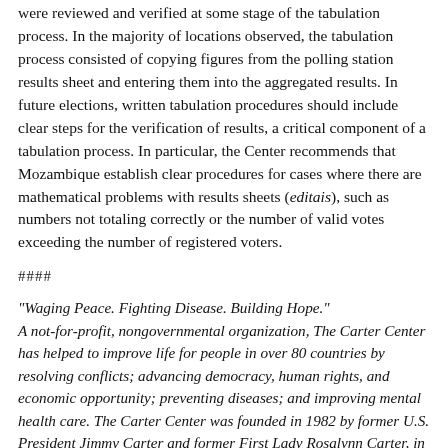were reviewed and verified at some stage of the tabulation process. In the majority of locations observed, the tabulation process consisted of copying figures from the polling station results sheet and entering them into the aggregated results. In future elections, written tabulation procedures should include clear steps for the verification of results, a critical component of a tabulation process. In particular, the Center recommends that Mozambique establish clear procedures for cases where there are mathematical problems with results sheets (editais), such as numbers not totaling correctly or the number of valid votes exceeding the number of registered voters.
####
"Waging Peace. Fighting Disease. Building Hope." A not-for-profit, nongovernmental organization, The Carter Center has helped to improve life for people in over 80 countries by resolving conflicts; advancing democracy, human rights, and economic opportunity; preventing diseases; and improving mental health care. The Carter Center was founded in 1982 by former U.S. President Jimmy Carter and former First Lady Rosalynn Carter, in partnership